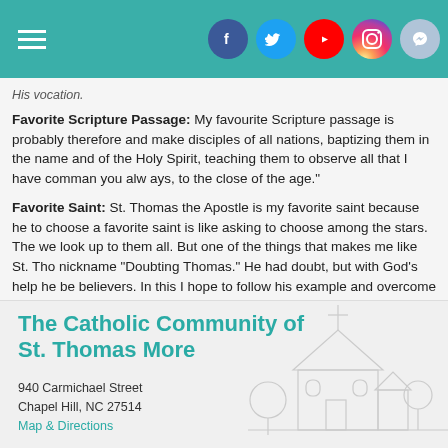Navigation header with hamburger menu and social media icons: Facebook, Twitter, YouTube, Instagram, Messenger
His vocation.
Favorite Scripture Passage: My favourite Scripture passage is probably therefore and make disciples of all nations, baptizing them in the name and of the Holy Spirit, teaching them to observe all that I have commanded you always, to the close of the age."
Favorite Saint: St. Thomas the Apostle is my favorite saint because he to choose a favorite saint is like asking to choose among the stars. The we look up to them all. But one of the things that makes me like St. Thomas nickname "Doubting Thomas." He had doubt, but with God's help he be believers. In this I hope to follow his example and overcome any doubt in Christ
The Catholic Community of St. Thomas More
940 Carmichael Street
Chapel Hill, NC 27514
Map & Directions